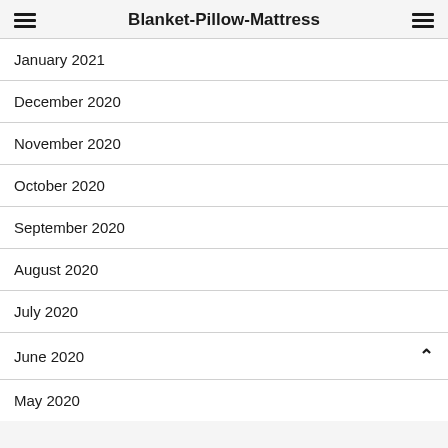Blanket-Pillow-Mattress
January 2021
December 2020
November 2020
October 2020
September 2020
August 2020
July 2020
June 2020
May 2020